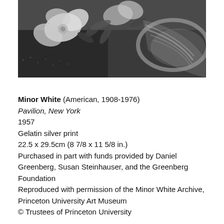[Figure (photo): Black and white photograph by Minor White showing flowers (likely clematis) with leaves against a textured background, cropped as a wide horizontal strip.]
Minor White (American, 1908-1976)
Pavilion, New York
1957
Gelatin silver print
22.5 x 29.5cm (8 7/8 x 11 5/8 in.)
Purchased in part with funds provided by Daniel Greenberg, Susan Steinhauser, and the Greenberg Foundation
Reproduced with permission of the Minor White Archive, Princeton University Art Museum
© Trustees of Princeton University